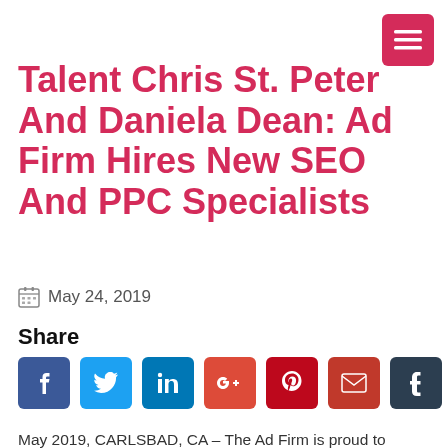Talent Chris St. Peter And Daniela Dean: Ad Firm Hires New SEO And PPC Specialists
May 24, 2019
Share
May 2019, CARLSBAD, CA – The Ad Firm is proud to welcome Chris St. Peter and Daniela Dean to their team. St. Peter will be responsible